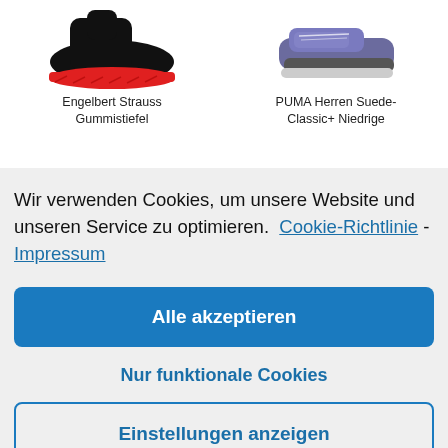[Figure (photo): Partial view of a black rubber boot with red sole (Engelbert Strauss Gummistiefel product image), cropped at top]
Engelbert Strauss Gummistiefel
[Figure (photo): Partial view of a PUMA Herren Suede-Classic+ Niedrige sneaker product image, cropped at top]
PUMA Herren Suede-Classic+ Niedrige
Wir verwenden Cookies, um unsere Website und unseren Service zu optimieren.  Cookie-Richtlinie - Impressum
Alle akzeptieren
Nur funktionale Cookies
Einstellungen anzeigen